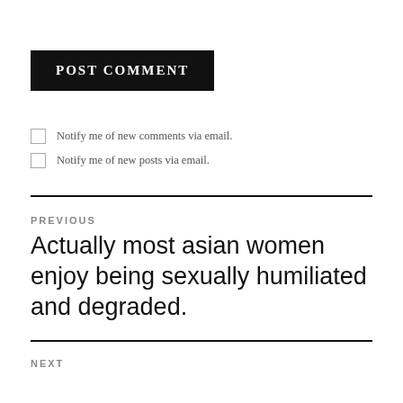POST COMMENT
Notify me of new comments via email.
Notify me of new posts via email.
PREVIOUS
Actually most asian women enjoy being sexually humiliated and degraded.
NEXT